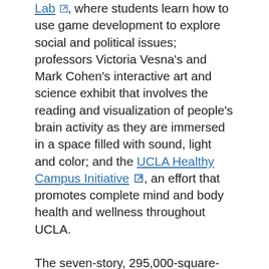Lab, where students learn how to use game development to explore social and political issues; professors Victoria Vesna's and Mark Cohen's interactive art and science exhibit that involves the reading and visualization of people's brain activity as they are immersed in a space filled with sound, light and color; and the UCLA Healthy Campus Initiative, an effort that promotes complete mind and body health and wellness throughout UCLA.
The seven-story, 295,000-square-foot Luskin Conference Center is one of just a handful of university-operated, on-campus conference centers in the United States.
Myriad departments and entities across UCLA have already booked space at the Luskin Center for their events. Over the next several weeks, the David Geffen School of Medicine, the School of Nursing, Alumni Affairs, the Graduate School of Education and